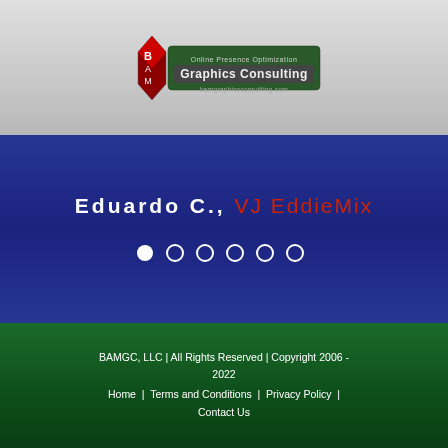[Figure (logo): BAM Graphics Consulting logo with red star/shield and text 'Online Presence Optimization Graphics Consulting bamgraphicsconsulting.com']
Eduardo C., VJ EddieMix
[Figure (other): Carousel navigation dots — 6 dots, first one filled white, rest empty circles]
BAMGC, LLC | All Rights Reserved | Copyright 2006 - 2022
Home | Terms and Conditions | Privacy Policy | Contact Us
[Figure (other): Social media icons: Facebook, LinkedIn, YouTube — red circular buttons. Back-to-top arrow button (red circle with chevron up) at bottom right.]